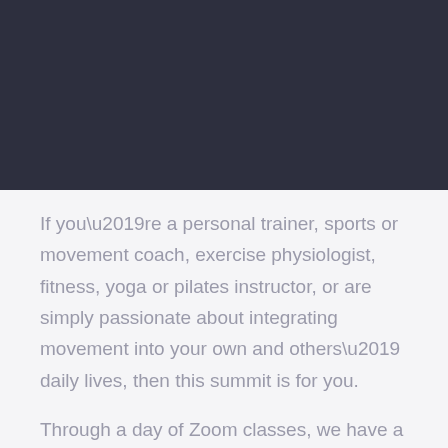[Figure (photo): Dark navy/charcoal header image area at the top of the page]
If you’re a personal trainer, sports or movement coach, exercise physiologist, fitness, yoga or pilates instructor, or are simply passionate about integrating movement into your own and others’ daily lives, then this summit is for you.
Through a day of Zoom classes, we have a